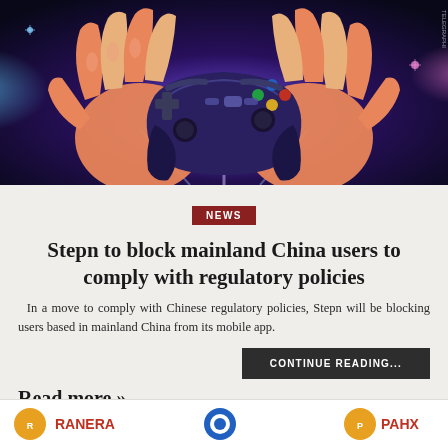[Figure (illustration): Illustrated image of two hands holding a dark gaming controller with gold/yellow buttons, glowing light effects in blue and purple tones in the background]
NEWS
Stepn to block mainland China users to comply with regulatory policies
In a move to comply with Chinese regulatory policies, Stepn will be blocking users based in mainland China from its mobile app.
CONTINUE READING...
Read more »
[Figure (illustration): Bottom banner showing logos including RANERA and PAHX]